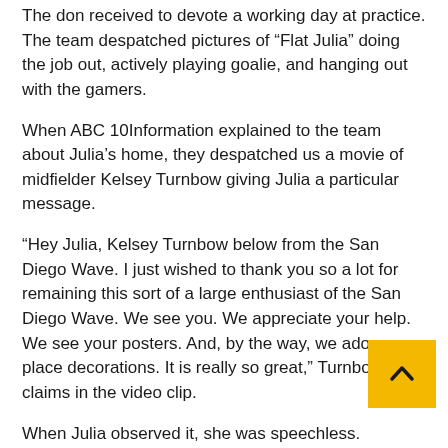The don received to devote a working day at practice. The team despatched pictures of “Flat Julia” doing the job out, actively playing goalie, and hanging out with the gamers.
When ABC 10Information explained to the team about Julia’s home, they despatched us a movie of midfielder Kelsey Turnbow giving Julia a particular message.
“Hey Julia, Kelsey Turnbow below from the San Diego Wave. I just wished to thank you so a lot for remaining this sort of a large enthusiast of the San Diego Wave. We see you. We appreciate your help. We see your posters. And, by the way, we adore your place decorations. It is really so great,” Turnbow claims in the video clip.
When Julia observed it, she was speechless.
“It’s so touching,” states Vocke. “All the gamers, from the major down, everybody has been so pleasant. They w to her (at online games) and she smiles. She phone them all her good friends. It can be amazing.”